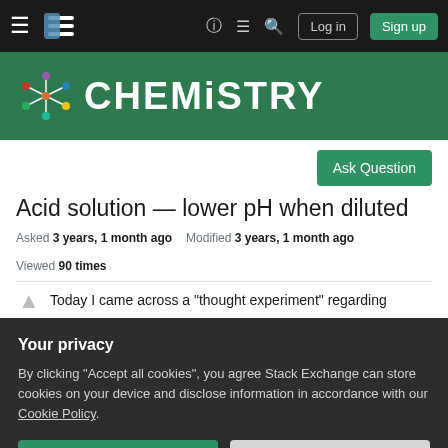Chemistry Stack Exchange navigation bar with hamburger menu, logo, help, chat, search icons, Log in and Sign up buttons
[Figure (logo): Chemistry Stack Exchange site banner with molecule logo and CHEMISTRY text in white on green background]
Ask Question
Acid solution — lower pH when diluted
Asked 3 years, 1 month ago   Modified 3 years, 1 month ago   Viewed 90 times
Today I came across a "thought experiment" regarding
Your privacy
By clicking "Accept all cookies", you agree Stack Exchange can store cookies on your device and disclose information in accordance with our Cookie Policy.
Accept all cookies   Customize settings
H2SO4 and 5 g of H₂O. Let's calculate the amount of